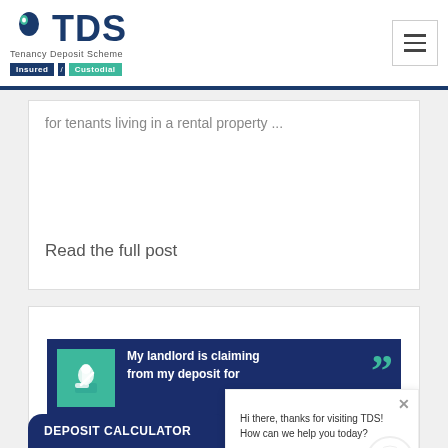[Figure (logo): TDS Tenancy Deposit Scheme logo with Insured and Custodial badges, plus hamburger menu icon]
for tenants living in a rental property ...
Read the full post
[Figure (screenshot): Dark navy blue banner image with green square icon containing a chimney sweep icon. Text reads: My landlord is claiming from my deposit for sweeping the chimney. Can t... Green quotation marks on right. TDS logo and #AskTDS at bottom. Overlaid chat popup: Hi there, thanks for visiting TDS! How can we help you today? with close X and circular TDS avatar icon.]
DEPOSIT CALCULATOR